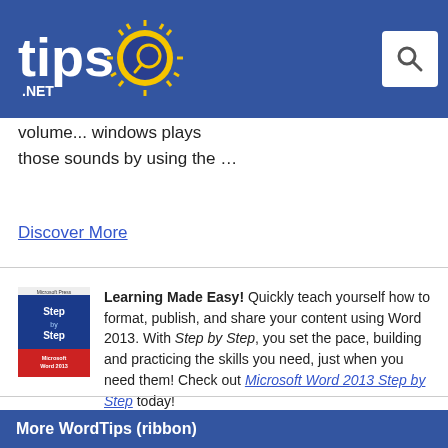tips.NET
volume ... windows plays those sounds by using the ...
Discover More
[Figure (illustration): Book cover for Microsoft Word 2013 Step by Step, blue and red cover]
Learning Made Easy! Quickly teach yourself how to format, publish, and share your content using Word 2013. With Step by Step, you set the pace, building and practicing the skills you need, just when you need them! Check out Microsoft Word 2013 Step by Step today!
More WordTips (ribbon)